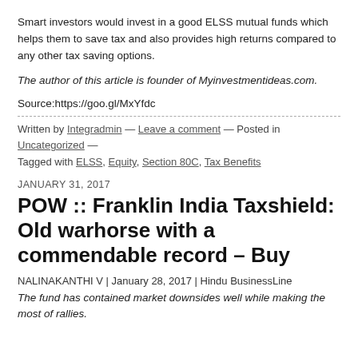Smart investors would invest in a good ELSS mutual funds which helps them to save tax and also provides high returns compared to any other tax saving options.
The author of this article is founder of Myinvestmentideas.com.
Source:https://goo.gl/MxYfdc
Written by Integradmin — Leave a comment — Posted in Uncategorized — Tagged with ELSS, Equity, Section 80C, Tax Benefits
JANUARY 31, 2017
POW :: Franklin India Taxshield: Old warhorse with a commendable record – Buy
NALINAKANTHI V | January 28, 2017 | Hindu BusinessLine
The fund has contained market downsides well while making the most of rallies.